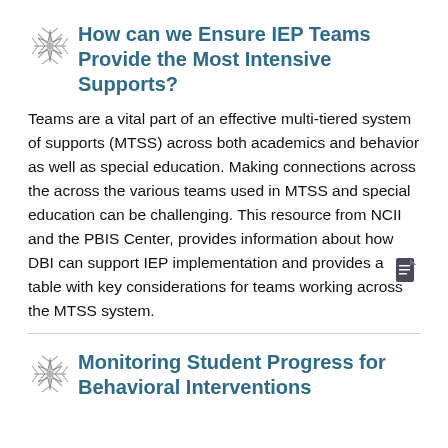How can we Ensure IEP Teams Provide the Most Intensive Supports?
Teams are a vital part of an effective multi-tiered system of supports (MTSS) across both academics and behavior as well as special education. Making connections across the across the various teams used in MTSS and special education can be challenging. This resource from NCII and the PBIS Center, provides information about how DBI can support IEP implementation and provides a table with key considerations for teams working across the MTSS system.
Monitoring Student Progress for Behavioral Interventions